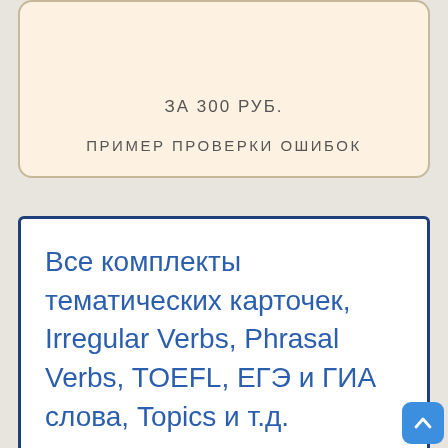за 300 РУБ.
ПРИМЕР ПРОВЕРКИ ОШИБОК
Все комплекты тематических карточек, Irregular Verbs, Phrasal Verbs, TOEFL, ЕГЭ и ГИА слова, Topics и т.д.
[Figure (photo): Advertisement banner showing a mountain landscape with arched architecture, labeled РЕКЛАМА]